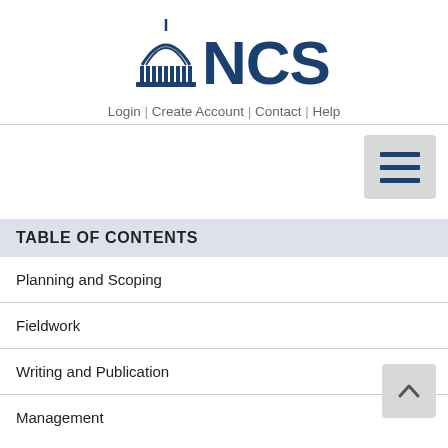[Figure (logo): NCSL logo with capitol dome icon and text 'NCSL' in dark blue]
Login | Create Account | Contact | Help
[Figure (other): Hamburger menu button (three horizontal bars) in a gray rounded square]
TABLE OF CONTENTS
Planning and Scoping
Fieldwork
Writing and Publication
Management